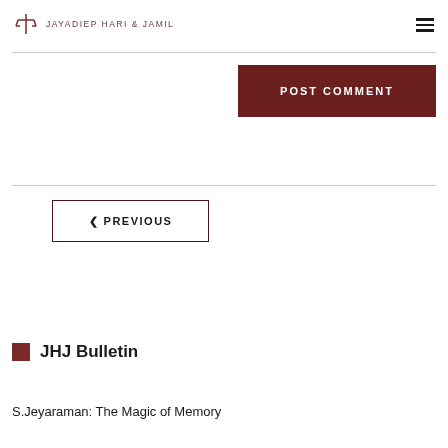JAYADIEP HARI & JAMIL
POST COMMENT
< PREVIOUS
JHJ Bulletin
S.Jeyaraman: The Magic of Memory